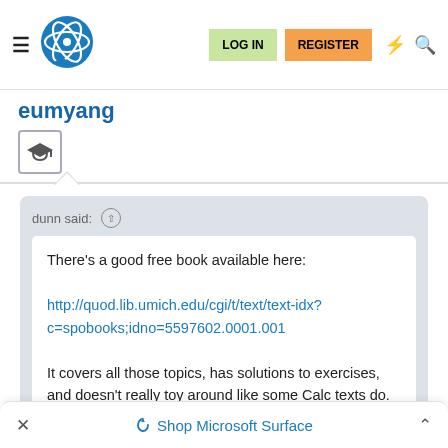Navigation bar with hamburger menu, logo, LOG IN, REGISTER buttons, lightning and search icons
eumyang
[Figure (illustration): Graduation cap icon inside a rounded square border]
dunn said: ↑
There's a good free book available here:

http://quod.lib.umich.edu/cgi/t/text/text-idx?c=spobooks;idno=5597602.0001.001

It covers all those topics, has solutions to exercises, and doesn't really toy around like some Calc texts do.
× Shop Microsoft Surface ^